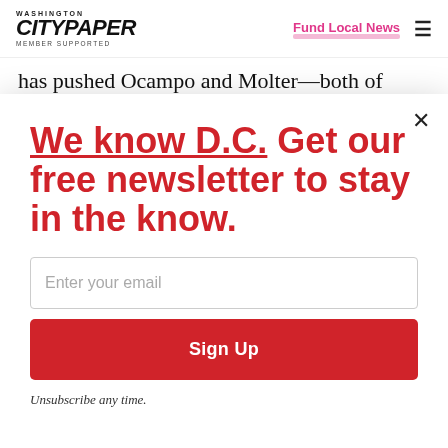Washington City Paper — Member Supported | Fund Local News
has pushed Ocampo and Molter—both of
We know D.C. Get our free newsletter to stay in the know.
Enter your email
Sign Up
Unsubscribe any time.